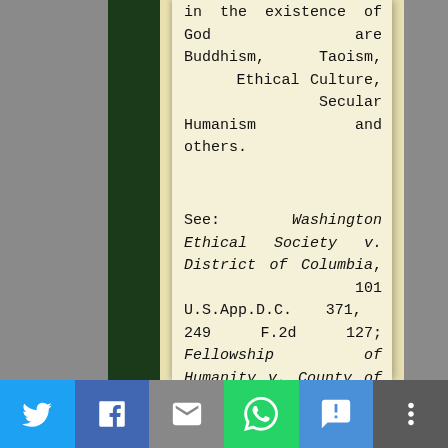in the existence of God are Buddhism, Taoism, Ethical Culture, Secular Humanism and others.
See: Washington Ethical Society v. District of Columbia, 101 U.S.App.D.C. 371, 249 F.2d 127; Fellowship of Humanity v. County of Alameda, 153 Cal.App.2d 673, 315 P.2d 394; II
[Figure (other): Social media sharing bar with Twitter, Facebook, Email, WhatsApp, SMS, and More buttons]